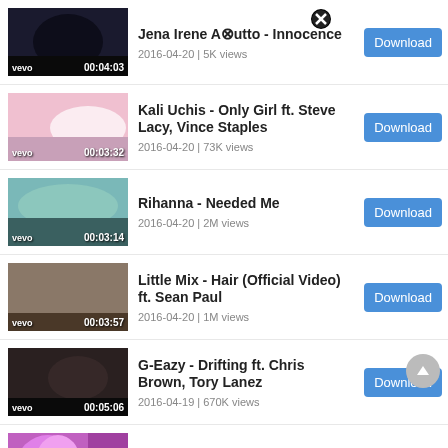Jena Irene Asciutto - Innocence
2016-04-20 | 5K views
Kali Uchis - Only Girl ft. Steve Lacy, Vince Staples
2016-04-20 | 73K views
Rihanna - Needed Me
2016-04-20 | 2M views
Little Mix - Hair (Official Video) ft. Sean Paul
2016-04-20 | 1M views
G-Eazy - Drifting ft. Chris Brown, Tory Lanez
2016-04-19 | 670K views
Kygo - Raging ft. Kodaline
2016-04-19 | 170K views